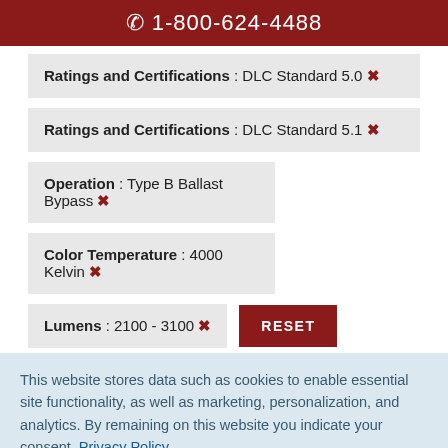☎ 1-800-624-4488
Ratings and Certifications : DLC Standard 5.0 ✕
Ratings and Certifications : DLC Standard 5.1 ✕
Operation : Type B Ballast Bypass ✕
Color Temperature : 4000 Kelvin ✕
Lumens : 2100 - 3100 ✕
This website stores data such as cookies to enable essential site functionality, as well as marketing, personalization, and analytics. By remaining on this website you indicate your consent. Privacy Policy